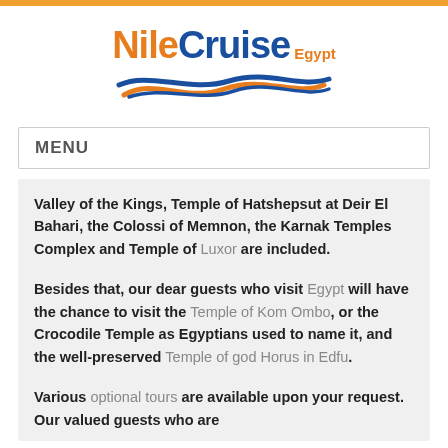[Figure (logo): Nile Cruise Egypt logo with orange 'Nile', blue 'Cruise', orange 'Egypt' text and wave graphic underneath]
MENU
Valley of the Kings, Temple of Hatshepsut at Deir El Bahari, the Colossi of Memnon, the Karnak Temples Complex and Temple of Luxor are included.
Besides that, our dear guests who visit Egypt will have the chance to visit the Temple of Kom Ombo, or the Crocodile Temple as Egyptians used to name it, and the well-preserved Temple of god Horus in Edfu.
Various optional tours are available upon your request. Our valued guests who are